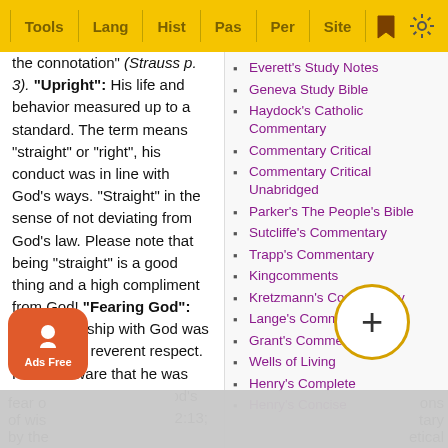Tools | Lang | Hist | Pas | Per | Site
the connotation" (Strauss p. 3). "Upright": His life and behavior measured up to a standard. The term means "straight" or "right", his conduct was in line with God's ways. "Straight" in the sense of not deviating from God's law. Please note that being "straight" is a good thing and a high compliment from God! "Fearing God": His relationship with God was based on a reverent respect. He was aware that he was obligated to submit to God's authority (Ecclesiastes 12:13; 2 Corinthians 7:1). Remember, the fear o... of wis... by the...
Everett's Study Notes
Geneva Study Bible
Haydock's Catholic Commentary
Commentary Critical
Commentary Critical Unabridged
Parker's The People's Bible
Sutcliffe's Commentary
Trapp's Commentary
Kingcomments
Kretzmann's Commentary
Lange's Commentary
Grant's Commentary
Wells of Living
Henry's Complete
Henry's Concise